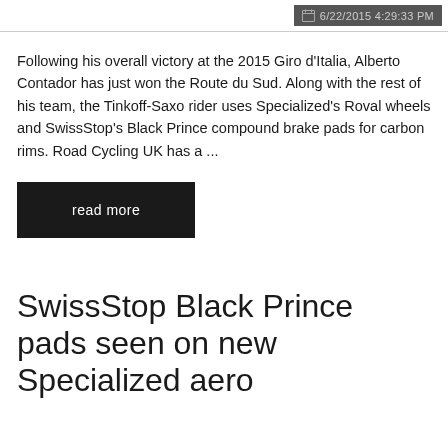6/22/2015 4:29:33 PM
Following his overall victory at the 2015 Giro d'Italia, Alberto Contador has just won the Route du Sud. Along with the rest of his team, the Tinkoff-Saxo rider uses Specialized's Roval wheels and SwissStop's Black Prince compound brake pads for carbon rims. Road Cycling UK has a ...
read more
SwissStop Black Prince pads seen on new Specialized aero